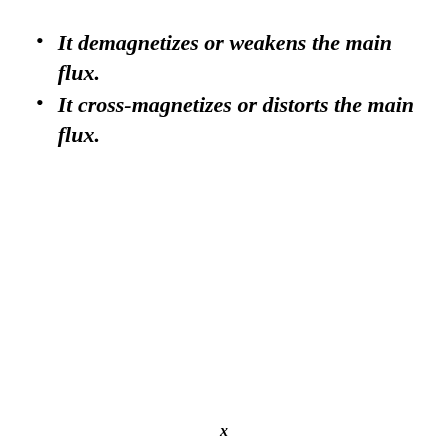It demagnetizes or weakens the main flux.
It cross-magnetizes or distorts the main flux.
x